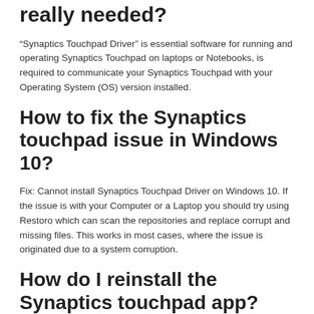really needed?
“Synaptics Touchpad Driver” is essential software for running and operating Synaptics Touchpad on laptops or Notebooks, is required to communicate your Synaptics Touchpad with your Operating System (OS) version installed.
How to fix the Synaptics touchpad issue in Windows 10?
Fix: Cannot install Synaptics Touchpad Driver on Windows 10. If the issue is with your Computer or a Laptop you should try using Restoro which can scan the repositories and replace corrupt and missing files. This works in most cases, where the issue is originated due to a system corruption.
How do I reinstall the Synaptics touchpad app?